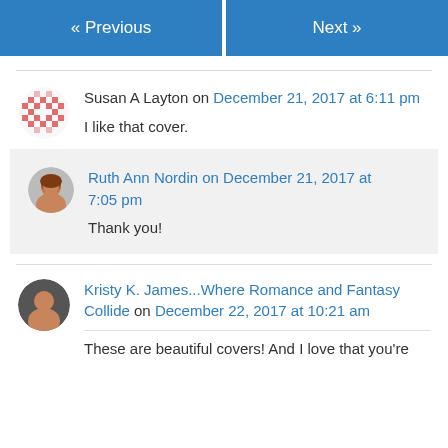« Previous
Next »
Susan A Layton on December 21, 2017 at 6:11 pm
I like that cover.
Ruth Ann Nordin on December 21, 2017 at 7:05 pm
Thank you!
Kristy K. James...Where Romance and Fantasy Collide on December 22, 2017 at 10:21 am
These are beautiful covers! And I love that you're